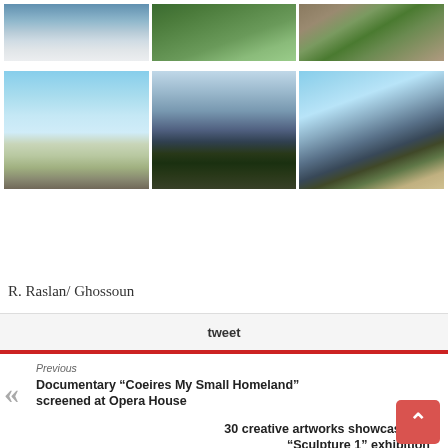[Figure (photo): Grid of 6 landscape/nature photos arranged in 2 rows of 3: top row shows ocean waves, aerial green fields, aerial brown terrain; bottom row shows low beach shore with pebbles, cliff above sea, coastal aerial view]
R. Raslan/ Ghossoun
tweet
Previous
Documentary “Coeires My Small Homeland” screened at Opera House
Next
30 creative artworks showcased at “Sculpture 1” exhibition